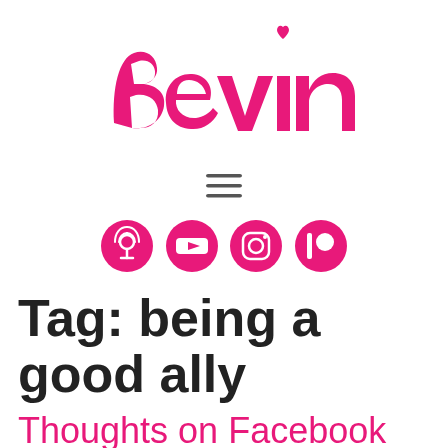[Figure (logo): Bevin script logo in hot pink with a small heart above the letter i]
[Figure (other): Hamburger menu icon (three horizontal lines) in dark gray]
[Figure (other): Four circular social media icons in hot pink: podcast, YouTube, Instagram, Patreon]
Tag: being a good ally
Thoughts on Facebook